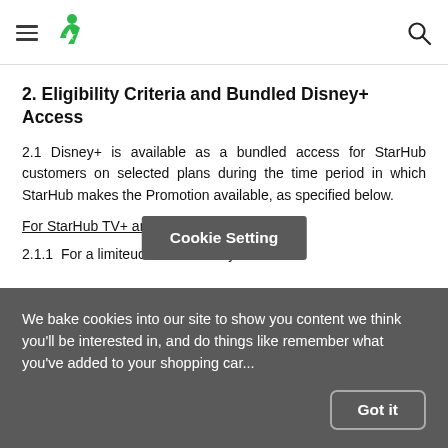StarHub logo and navigation header
2. Eligibility Criteria and Bundled Disney+ Access
2.1 Disney+ is available as a bundled access for StarHub customers on selected plans during the time period in which StarHub makes the Promotion available, as specified below.
For StarHub TV+ and HomeHub+ customers
2.1.1 For a limite... uch time we may
[Figure (screenshot): Cookie Setting popup tooltip overlay on page content]
We bake cookies into our site to show you content we think you'll be interested in, and do things like remember what you've added to your shopping car...
Got it